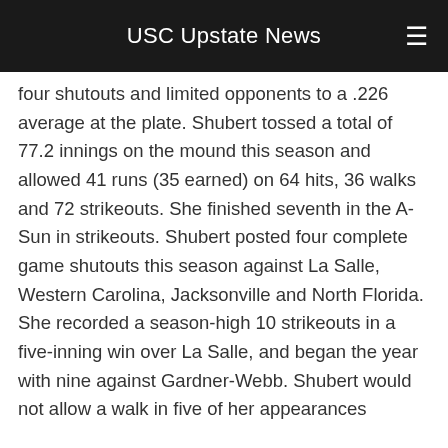USC Upstate News
four shutouts and limited opponents to a .226 average at the plate. Shubert tossed a total of 77.2 innings on the mound this season and allowed 41 runs (35 earned) on 64 hits, 36 walks and 72 strikeouts. She finished seventh in the A-Sun in strikeouts. Shubert posted four complete game shutouts this season against La Salle, Western Carolina, Jacksonville and North Florida. She recorded a season-high 10 strikeouts in a five-inning win over La Salle, and began the year with nine against Gardner-Webb. Shubert would not allow a walk in five of her appearances